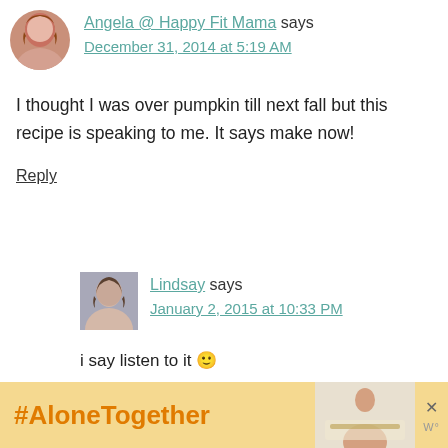Angela @ Happy Fit Mama says
December 31, 2014 at 5:19 AM
I thought I was over pumpkin till next fall but this recipe is speaking to me. It says make now!
Reply
Lindsay says
January 2, 2015 at 10:33 PM
i say listen to it 🙂
[Figure (infographic): #AloneTogether advertisement banner with woman eating at table and brand logo]